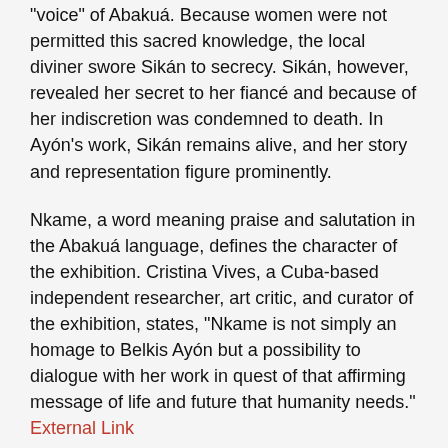"voice" of Abakuá. Because women were not permitted this sacred knowledge, the local diviner swore Sikán to secrecy. Sikán, however, revealed her secret to her fiancé and because of her indiscretion was condemned to death. In Ayón's work, Sikán remains alive, and her story and representation figure prominently.
Nkame, a word meaning praise and salutation in the Abakuá language, defines the character of the exhibition. Cristina Vives, a Cuba-based independent researcher, art critic, and curator of the exhibition, states, "Nkame is not simply an homage to Belkis Ayón but a possibility to dialogue with her work in quest of that affirming message of life and future that humanity needs."
External Link
Relevant research areas: North America, South America, 20th Century, Contemporary, Collograph
[ssba]